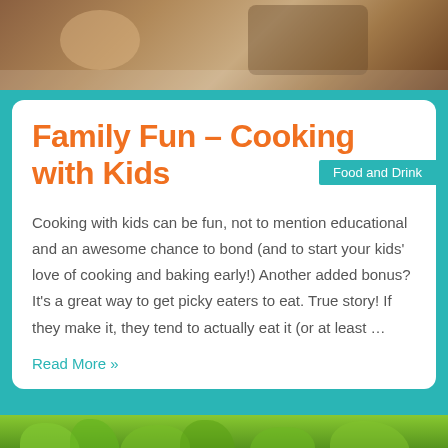[Figure (photo): Photo of children cooking, seen from above on wooden surface, one child wearing striped shirt]
Family Fun – Cooking with Kids
Food and Drink
Cooking with kids can be fun, not to mention educational and an awesome chance to bond (and to start your kids' love of cooking and baking early!)  Another added bonus?  It's a great way to get picky eaters to eat.  True story!  If they make it, they tend to actually eat it (or at least …
Read More »
[Figure (photo): Photo of green herb plants (basil) growing in a garden or planter box]